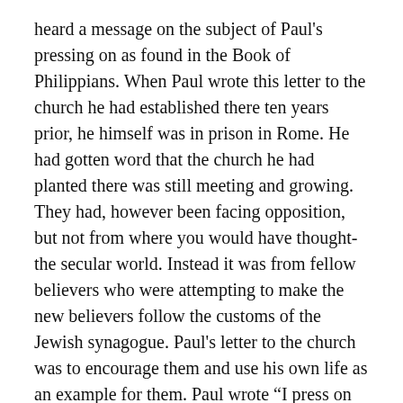heard a message on the subject of Paul's pressing on as found in the Book of Philippians. When Paul wrote this letter to the church he had established there ten years prior, he himself was in prison in Rome. He had gotten word that the church he had planted there was still meeting and growing. They had, however been facing opposition, but not from where you would have thought-the secular world. Instead it was from fellow believers who were attempting to make the new believers follow the customs of the Jewish synagogue. Paul's letter to the church was to encourage them and use his own life as an example for them. Paul wrote “I press on to take hold of that for which Christ Jesus took hold of me” (Philippians 3:12b, NIV). He had explained his standing as a firm Jewish leader prior to his conversion and how now he considered it rubbish. He left that all behind and much like a runner in a race he was pushing himself toward the finish line